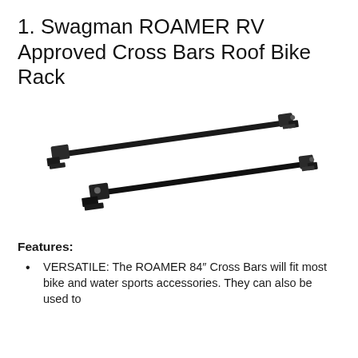1. Swagman ROAMER RV Approved Cross Bars Roof Bike Rack
[Figure (photo): Product photo of two black Swagman ROAMER cross bars/roof rack rails with clamp brackets at each end, shown diagonally on a white background.]
Features:
VERSATILE: The ROAMER 84″ Cross Bars will fit most bike and water sports accessories. They can also be used to